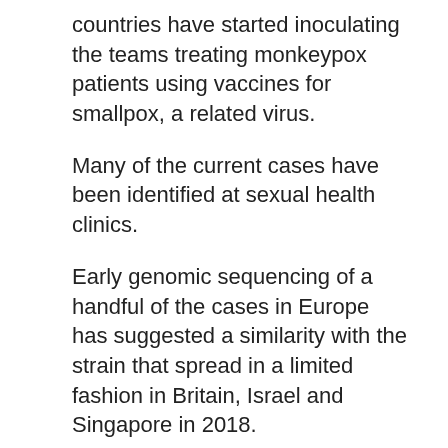countries have started inoculating the teams treating monkeypox patients using vaccines for smallpox, a related virus.
Many of the current cases have been identified at sexual health clinics.
Early genomic sequencing of a handful of the cases in Europe has suggested a similarity with the strain that spread in a limited fashion in Britain, Israel and Singapore in 2018.
Heymann said it was "biologically plausible" that the virus had since been circulating outside of the countries where it is endemic, but had not led to major outbreaks as a result of COVID-19 lockdowns, social distancing and travel restrictions.